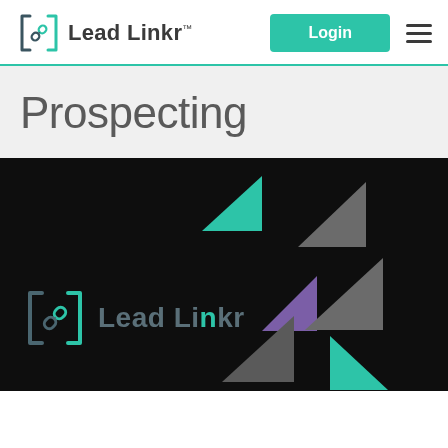Lead Linkr — Login navigation header
Prospecting
[Figure (screenshot): Dark background brand image showing Lead Linkr logo in grey/teal on black, with decorative triangles in teal, grey, and purple arranged in the background]